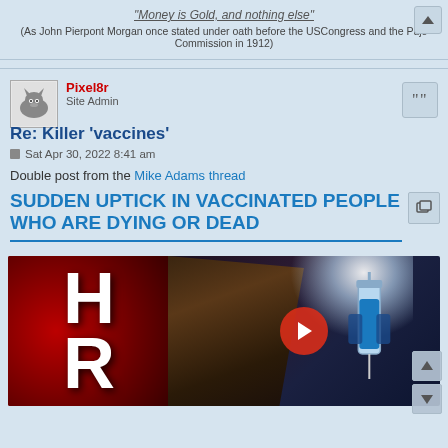"Money is Gold, and nothing else"
(As John Pierpont Morgan once stated under oath before the USCongress and the Pujo Commission in 1912)
Pixel8r
Site Admin
Re: Killer 'vaccines'
Sat Apr 30, 2022 8:41 am
Double post from the Mike Adams thread
SUDDEN UPTICK IN VACCINATED PEOPLE WHO ARE DYING OR DEAD
[Figure (screenshot): Video thumbnail with red background showing letters HR, a hand raised in foreground, and a syringe with blue liquid on the right. Red play button in center.]